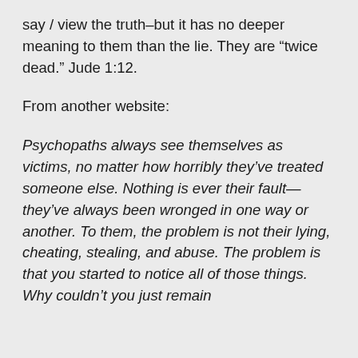say / view the truth–but it has no deeper meaning to them than the lie. They are “twice dead.” Jude 1:12.
From another website:
Psychopaths always see themselves as victims, no matter how horribly they’ve treated someone else. Nothing is ever their fault—they’ve always been wronged in one way or another. To them, the problem is not their lying, cheating, stealing, and abuse. The problem is that you started to notice all of those things. Why couldn’t you just remain